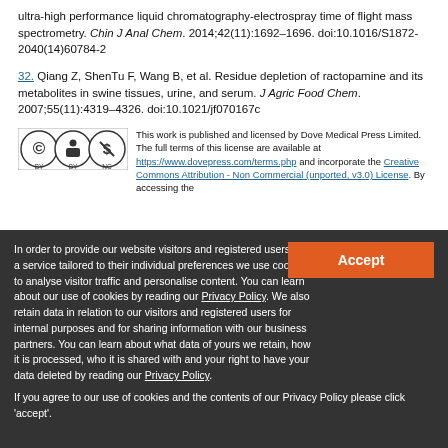ultra-high performance liquid chromatography-electrospray time of flight mass spectrometry. Chin J Anal Chem. 2014;42(11):1692–1696. doi:10.1016/S1872-2040(14)60784-2
32. Qiang Z, ShenTu F, Wang B, et al. Residue depletion of ractopamine and its metabolites in swine tissues, urine, and serum. J Agric Food Chem. 2007;55(11):4319–4326. doi:10.1021/jf070167c
[Figure (logo): Creative Commons BY-NC license logo]
This work is published and licensed by Dove Medical Press Limited. The full terms of this license are available at https://www.dovepress.com/terms.php and incorporate the Creative Commons Attribution - Non Commercial (unported, v3.0) License. By accessing the
In order to provide our website visitors and registered users with a service tailored to their individual preferences we use cookies to analyse visitor traffic and personalise content. You can learn about our use of cookies by reading our Privacy Policy. We also retain data in relation to our visitors and registered users for internal purposes and for sharing information with our business partners. You can learn about what data of yours we retain, how it is processed, who it is shared with and your right to have your data deleted by reading our Privacy Policy.
If you agree to our use of cookies and the contents of our Privacy Policy please click 'accept'.